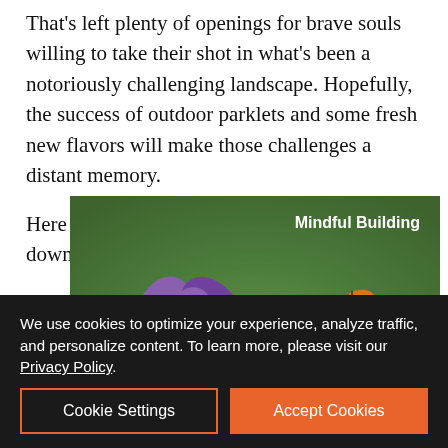That's left plenty of openings for brave souls willing to take their shot in what's been a notoriously challenging landscape. Hopefully, the success of outdoor parklets and some fresh new flavors will make those challenges a distant memory.
Here are some of the newest arrivals to downtown Santa Rosa:
[Figure (advertisement): Earthtone Construction advertisement with purple flowers and a butterfly background. Text reads: 'Mindful Building', 'Earthtone CONSTRUCTION', 'Learn more >', 'UC.744848']
Warik... restaurant...
We use cookies to optimize your experience, analyze traffic, and personalize content. To learn more, please visit our Privacy Policy.
Cookie Settings | Accept Cookies